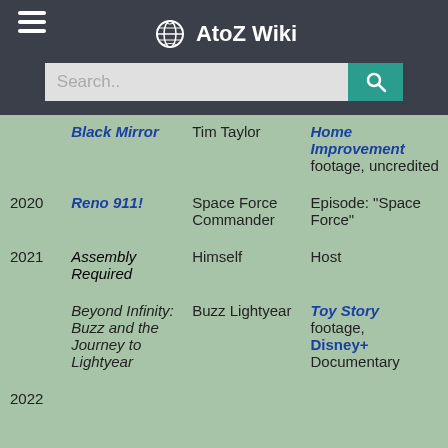AtoZ Wiki
| Year | Title | Role | Notes |
| --- | --- | --- | --- |
|  | Black Mirror | Tim Taylor | Home Improvement footage, uncredited |
| 2020 | Reno 911! | Space Force Commander | Episode: "Space Force" |
| 2021 | Assembly Required | Himself | Host |
|  | Beyond Infinity: Buzz and the Journey to Lightyear | Buzz Lightyear | Toy Story footage, Disney+ Documentary |